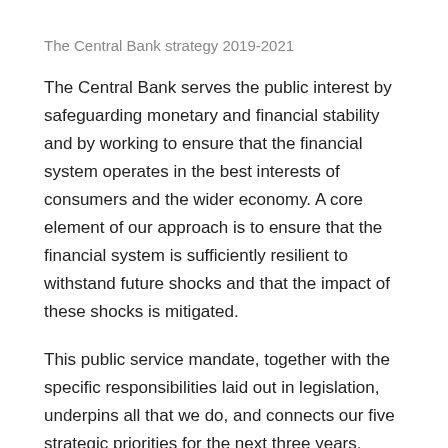The Central Bank strategy 2019-2021
The Central Bank serves the public interest by safeguarding monetary and financial stability and by working to ensure that the financial system operates in the best interests of consumers and the wider economy. A core element of our approach is to ensure that the financial system is sufficiently resilient to withstand future shocks and that the impact of these shocks is mitigated.
This public service mandate, together with the specific responsibilities laid out in legislation, underpins all that we do, and connects our five strategic priorities for the next three years. Specifically: